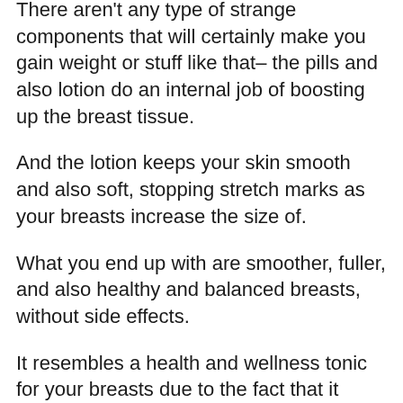There aren't any type of strange components that will certainly make you gain weight or stuff like that– the pills and also lotion do an internal job of boosting up the breast tissue.
And the lotion keeps your skin smooth and also soft, stopping stretch marks as your breasts increase the size of.
What you end up with are smoother, fuller, and also healthy and balanced breasts, without side effects.
It resembles a health and wellness tonic for your breasts due to the fact that it provides a far better form too, decreasing drooping as well as offering you a more younger appearance.